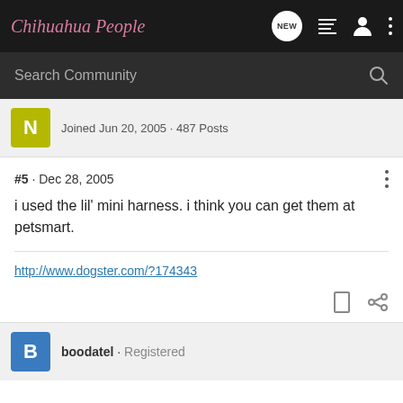Chihuahua People
Search Community
Joined Jun 20, 2005 · 487 Posts
#5 · Dec 28, 2005
i used the lil' mini harness. i think you can get them at petsmart.
http://www.dogster.com/?174343
boodatel · Registered